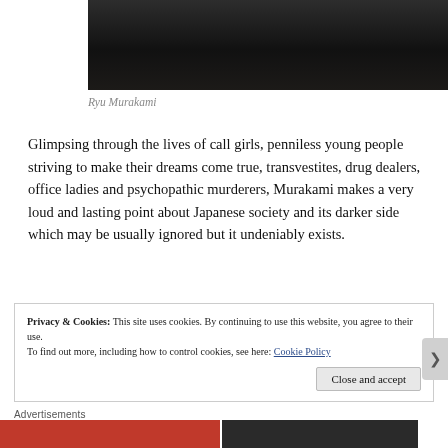[Figure (photo): Partial photograph of Ryu Murakami, showing the lower portion of a person wearing a dark/black top against a dark background.]
Ryu Murakami
Glimpsing through the lives of call girls, penniless young people striving to make their dreams come true, transvestites, drug dealers, office ladies and psychopathic murderers, Murakami makes a very loud and lasting point about Japanese society and its darker side which may be usually ignored but it undeniably exists.
Privacy & Cookies: This site uses cookies. By continuing to use this website, you agree to their use. To find out more, including how to control cookies, see here: Cookie Policy
Close and accept
Advertisements